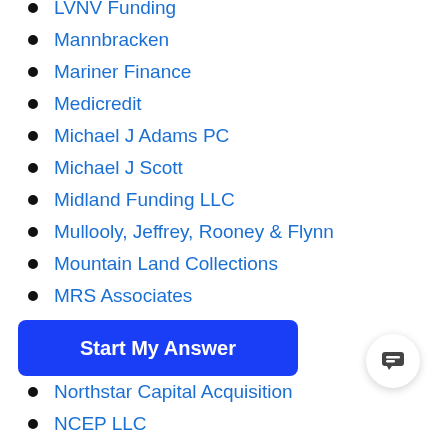LVNV Funding
Mannbracken
Mariner Finance
Medicredit
Michael J Adams PC
Michael J Scott
Midland Funding LLC
Mullooly, Jeffrey, Rooney & Flynn
Mountain Land Collections
MRS Associates
National Collegiate Trust
Nationstar Foreclosure
Northstar Capital Acquisition
NCEP LLC
OneMain Financial